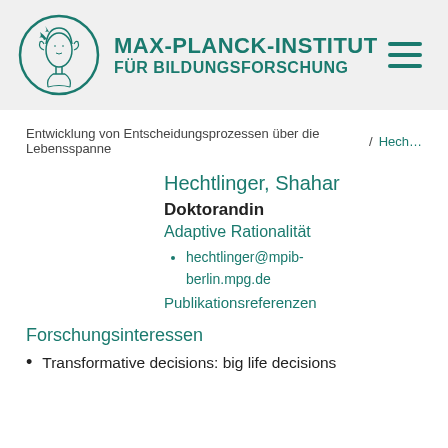MAX-PLANCK-INSTITUT FÜR BILDUNGSFORSCHUNG
Entwicklung von Entscheidungsprozessen über die Lebensspanne / Hech…
Hechtlinger, Shahar
Doktorandin
Adaptive Rationalität
hechtlinger@mpib-berlin.mpg.de
Publikationsreferenzen
Forschungsinteressen
Transformative decisions: big life decisions